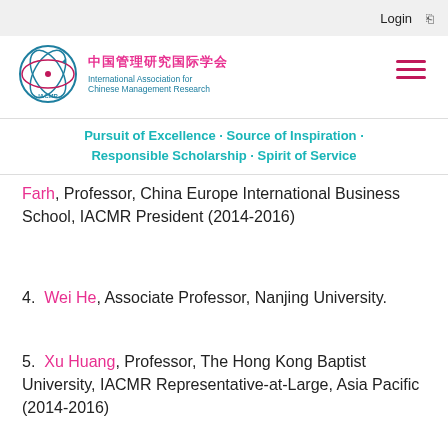Login
[Figure (logo): IACMR logo circle with Chinese characters and English text: International Association for Chinese Management Research]
Pursuit of Excellence · Source of Inspiration · Responsible Scholarship · Spirit of Service
Farh, Professor, China Europe International Business School, IACMR President (2014-2016)
4. Wei He, Associate Professor, Nanjing University.
5. Xu Huang, Professor, The Hong Kong Baptist University, IACMR Representative-at-Large, Asia Pacific (2014-2016)